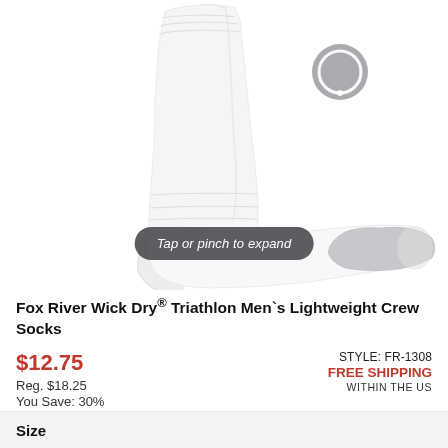[Figure (photo): White athletic crew sock shown from the side, with gray toe area. A circular loading/zoom icon appears at top right of the image. A dark overlay tooltip reads 'Tap or pinch to expand'.]
Fox River Wick Dry® Triathlon Men`s Lightweight Crew Socks
$12.75
Reg. $18.25
You Save: 30%
STYLE: FR-1308
FREE SHIPPING
WITHIN THE US
Size